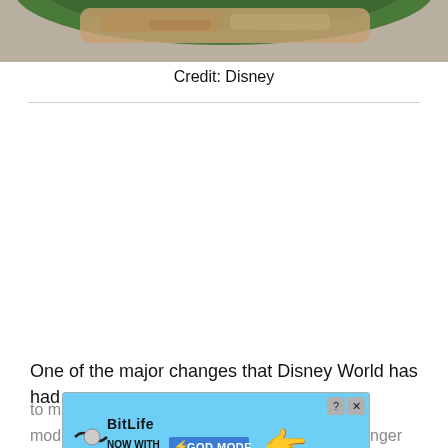[Figure (photo): Top portion of a food photo showing a green plate with food, cropped at the top of the page]
Credit: Disney
[Figure (screenshot): Advertisement banner for BitLife game with 'NOW WITH GOD MODE' text on a light blue background with cartoon hand pointing]
One of the major changes that Disney World has had to ma... modi... nger